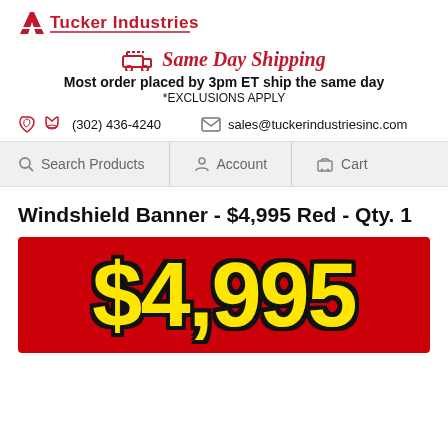Tucker Industries
Same Day Shipping
Most order placed by 3pm ET ship the same day
*EXCLUSIONS APPLY
(302) 436-4240   sales@tuckerindustriesinc.com
Search Products   Account   Cart
Windshield Banner - $4,995 Red - Qty. 1
[Figure (photo): Red windshield banner displaying '$4,995' in large bold yellow text with black outline on a red background]